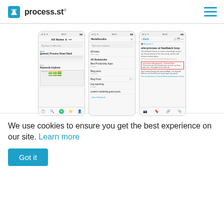process.st
[Figure (screenshot): Three mobile phone screenshots of the Evernote app showing All Notes view, Notebooks list, and a note detail view with a site:process.st feedback loop search result highlighted in red.]
We use cookies to ensure you get the best experience on our site. Learn more
Got it